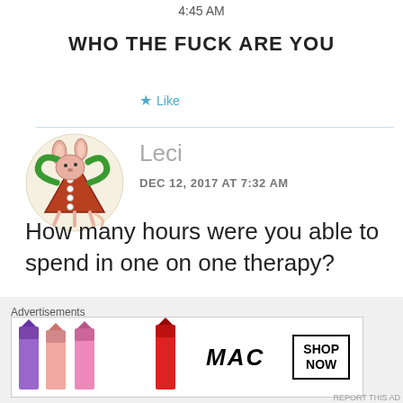4:45 AM
WHO THE FUCK ARE YOU
★ Like
Leci
DEC 12, 2017 AT 7:32 AM
How many hours were you able to spend in one on one therapy?
[Figure (illustration): Circular avatar image of a cartoon creature resembling a red triangular fox/monster with bunny ears, wearing a green accessory, on a light beige background]
[Figure (photo): MAC Cosmetics advertisement banner showing colorful lipsticks (purple, pink, red) with MAC logo and SHOP NOW button]
Advertisements